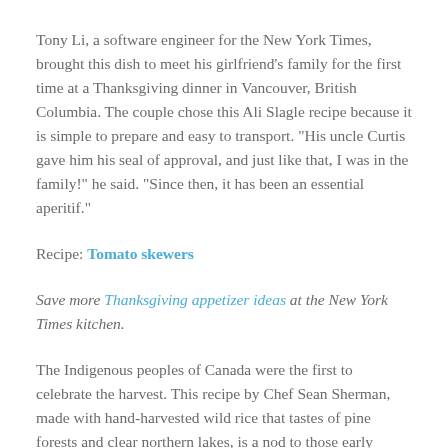Tony Li, a software engineer for the New York Times, brought this dish to meet his girlfriend’s family for the first time at a Thanksgiving dinner in Vancouver, British Columbia. The couple chose this Ali Slagle recipe because it is simple to prepare and easy to transport. “His uncle Curtis gave him his seal of approval, and just like that, I was in the family!” he said. “Since then, it has been an essential aperitif.”
Recipe: Tomato skewers
Save more Thanksgiving appetizer ideas at the New York Times kitchen.
The Indigenous peoples of Canada were the first to celebrate the harvest. This recipe by Chef Sean Sherman, made with hand-harvested wild rice that tastes of pine forests and clear northern lakes, is a nod to those early gatherings of the harvest.